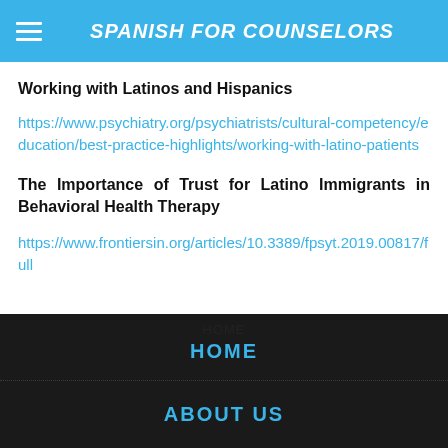SPANISH FOR COUNSELORS
Working with Latinos and Hispanics
https://www.psychiatry.org/psychiatrists/cultural-competency/education/best-practice-highlights/working-with-latino-patients
The Importance of Trust for Latino Immigrants in Behavioral Health Therapy
https://www.frontiersin.org/articles/10.3389/fpsyt.2019.00817/full
HOME
ABOUT US